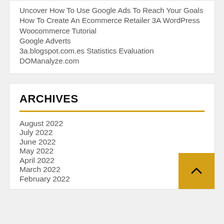Uncover How To Use Google Ads To Reach Your Goals
How To Create An Ecommerce Retailer 3A WordPress Woocommerce Tutorial
Google Adverts
3a.blogspot.com.es Statistics Evaluation DOManalyze.com
ARCHIVES
August 2022
July 2022
June 2022
May 2022
April 2022
March 2022
February 2022